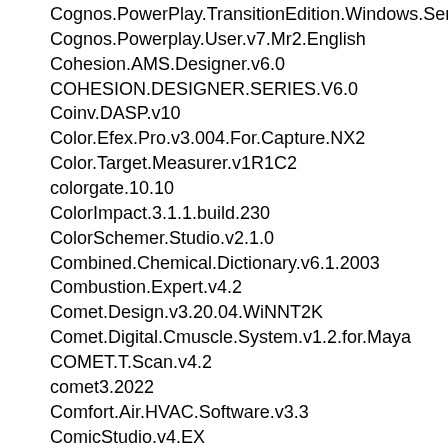Cognos.PowerPlay.TransitionEdition.Windows.Series7.Version...
Cognos.Powerplay.User.v7.Mr2.English
Cohesion.AMS.Designer.v6.0
COHESION.DESIGNER.SERIES.V6.0
Coinv.DASP.v10
Color.Efex.Pro.v3.004.For.Capture.NX2
Color.Target.Measurer.v1R1C2
colorgate.10.10
ColorImpact.3.1.1.build.230
ColorSchemer.Studio.v2.1.0
Combined.Chemical.Dictionary.v6.1.2003
Combustion.Expert.v4.2
Comet.Design.v3.20.04.WiNNT2K
Comet.Digital.Cmuscle.System.v1.2.for.Maya
COMET.T.Scan.v4.2
comet3.2022
Comfort.Air.HVAC.Software.v3.3
ComicStudio.v4.EX
Command.Digital.AutoHook.2022.v1.0.4.00
Compal.8.6.7.0
Compaq.Array.Visualizer.v1.6
Compaq.Visual.Fortran.v6.6C.Professional
Compass.RamSeries.V11.0.5
Compass.Staircase.v9.0